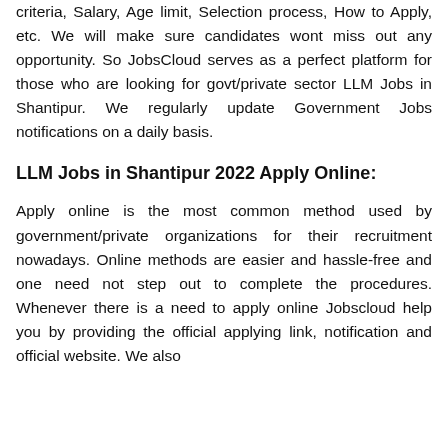criteria, Salary, Age limit, Selection process, How to Apply, etc. We will make sure candidates wont miss out any opportunity. So JobsCloud serves as a perfect platform for those who are looking for govt/private sector LLM Jobs in Shantipur. We regularly update Government Jobs notifications on a daily basis.
LLM Jobs in Shantipur 2022 Apply Online:
Apply online is the most common method used by government/private organizations for their recruitment nowadays. Online methods are easier and hassle-free and one need not step out to complete the procedures. Whenever there is a need to apply online Jobscloud help you by providing the official applying link, notification and official website. We also